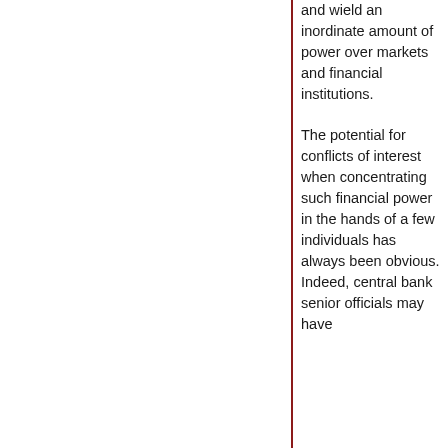and wield an inordinate amount of power over markets and financial institutions.
The potential for conflicts of interest when concentrating such financial power in the hands of a few individuals has always been obvious. Indeed, central bank senior officials may have